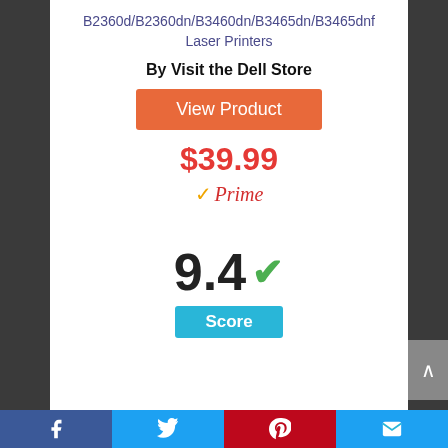B2360d/B2360dn/B3460dn/B3465dn/B3465dnf Laser Printers
By Visit the Dell Store
[Figure (other): Orange 'View Product' button]
$39.99
[Figure (other): Amazon Prime checkmark and Prime text logo]
9.4
Score
[Figure (other): Social media share bar with Facebook, Twitter, Pinterest, and Email icons at the bottom]